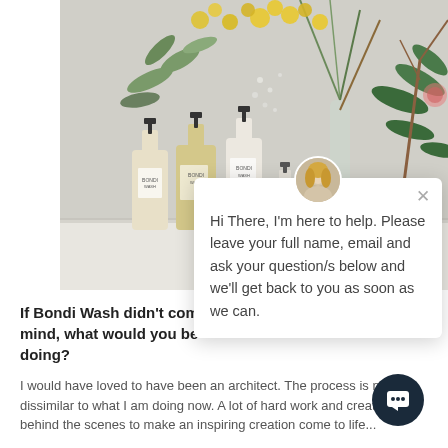[Figure (photo): Product photo showing Bondi Wash skincare/cleaning bottles arranged on a white surface with yellow wildflowers and green foliage in glass vases in the background, against a light grey wall.]
[Figure (screenshot): Chat popup widget with a circular avatar photo of a blonde woman at the top center, an X close button top-right, and message text: 'Hi There, I'm here to help. Please leave your full name, email and ask your question/s below and we'll get back to you as soon as we can.']
If Bondi Wash didn't come to mind, what would you be doing?
I would have loved to have been an architect.  The process is not dissimilar to what I am doing now. A lot of hard work and creativity behind the scenes to make an inspiring creation come to life...